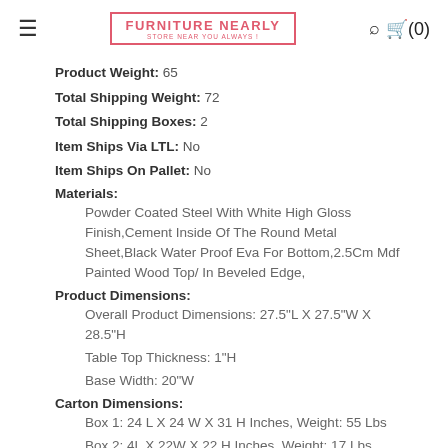FURNITURE NEARLY — STORE NEAR YOU ALWAYS !
Product Weight: 65
Total Shipping Weight: 72
Total Shipping Boxes: 2
Item Ships Via LTL: No
Item Ships On Pallet: No
Materials:
Powder Coated Steel With White High Gloss Finish,Cement Inside Of The Round Metal Sheet,Black Water Proof Eva For Bottom,2.5Cm Mdf Painted Wood Top/ In Beveled Edge,
Product Dimensions:
Overall Product Dimensions: 27.5"L X 27.5"W X 28.5"H
Table Top Thickness: 1"H
Base Width: 20"W
Carton Dimensions:
Box 1: 24 L X 24 W X 31 H Inches, Weight: 55 Lbs
Box 2: 4L X 22W X 22 H Inches, Weight: 17 Lbs